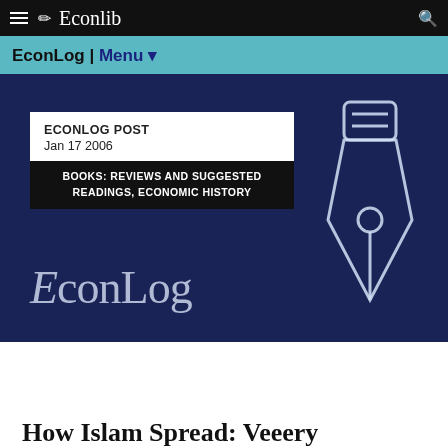Econlib
EconLog | Menu
[Figure (screenshot): EconLog hero banner on dark navy background showing post card labeled 'ECONLOG POST Jan 17 2006', category tag 'BOOKS: REVIEWS AND SUGGESTED READINGS, ECONOMIC HISTORY', EconLog logo text, and pen nib icon]
How Islam Spread: Veeery